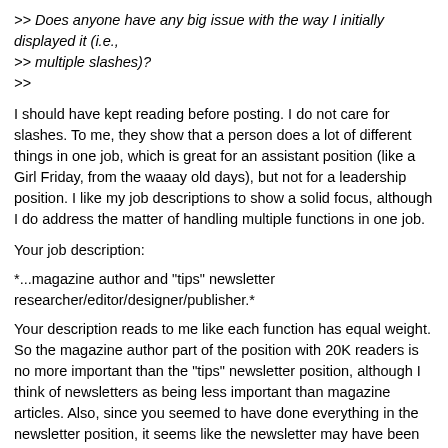>> Does anyone have any big issue with the way I initially displayed it (i.e., >> multiple slashes)?
>>
I should have kept reading before posting. I do not care for slashes. To me, they show that a person does a lot of different things in one job, which is great for an assistant position (like a Girl Friday, from the waaay old days), but not for a leadership position. I like my job descriptions to show a solid focus, although I do address the matter of handling multiple functions in one job.
Your job description:
*...magazine author and "tips" newsletter researcher/editor/designer/publisher.*
Your description reads to me like each function has equal weight. So the magazine author part of the position with 20K readers is no more important than the "tips" newsletter position, although I think of newsletters as being less important than magazine articles. Also, since you seemed to have done everything in the newsletter position, it seems like the newsletter may have been your own pet project, since there is not much else for anyone else to do. I would pare my contribution to the newsletter so that it would like there were more people involved. I would also describe the focus of the magazine whether it is medical, technology, real estate, or whatever. You did not mention the industry that you are discussing and that is somewhat important.
Perhaps I would say something like, "...medical products magazine writer